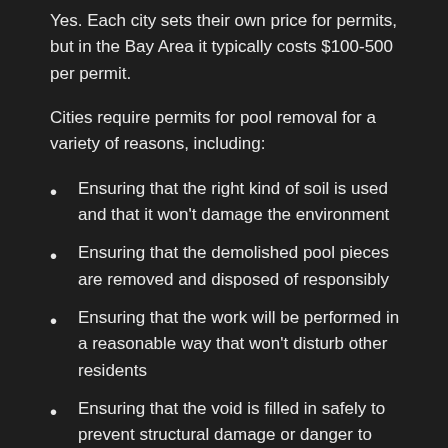Yes. Each city sets their own price for permits, but in the Bay Area it typically costs $100-500 per permit.
Cities require permits for pool removal for a variety of reasons, including:
Ensuring that the right kind of soil is used and that it won't damage the environment
Ensuring that the demolished pool pieces are removed and disposed of responsibly
Ensuring that the work will be performed in a reasonable way that won't disturb other residents
Ensuring that the void is filled in safely to prevent structural damage or danger to those walking on it